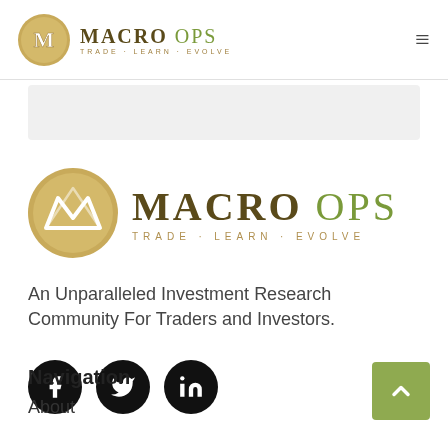[Figure (logo): Macro Ops logo in navigation bar - circular gold icon with M and text MACRO OPS TRADE · LEARN · EVOLVE]
[Figure (logo): Large Macro Ops logo - circular gold icon with M and text MACRO OPS TRADE · LEARN · EVOLVE]
An Unparalleled Investment Research Community For Traders and Investors.
[Figure (illustration): Social media icons: Facebook, Twitter, LinkedIn - black circles with white icons]
Navigation
About